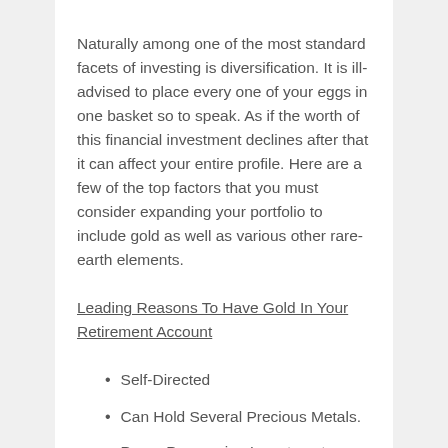Naturally among one of the most standard facets of investing is diversification. It is ill-advised to place every one of your eggs in one basket so to speak. As if the worth of this financial investment declines after that it can affect your entire profile. Here are a few of the top factors that you must consider expanding your portfolio to include gold as well as various other rare-earth elements.
Leading Reasons To Have Gold In Your Retirement Account
Self-Directed
Can Hold Several Precious Metals.
Paper Possession Investments